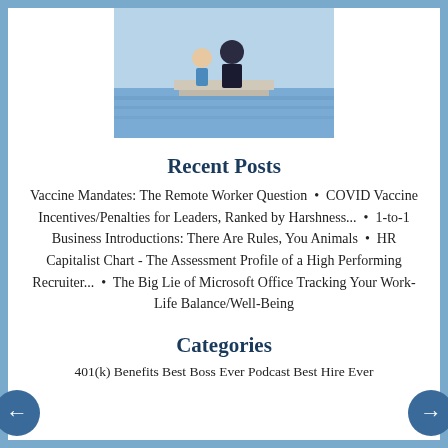[Figure (photo): Photo of two people (a child and adult) sitting on a dock or steps near water, viewed from behind]
Recent Posts
Vaccine Mandates: The Remote Worker Question • COVID Vaccine Incentives/Penalties for Leaders, Ranked by Harshness... • 1-to-1 Business Introductions: There Are Rules, You Animals • HR Capitalist Chart - The Assessment Profile of a High Performing Recruiter... • The Big Lie of Microsoft Office Tracking Your Work-Life Balance/Well-Being
Categories
401(k) Benefits Best Boss Ever Podcast Best Hire Ever